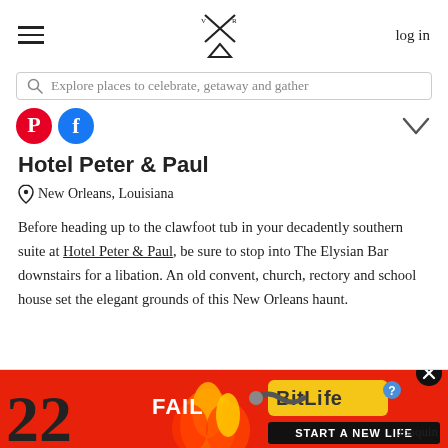log in
Explore places to celebrate, getaway and gather
Hotel Peter & Paul
New Orleans, Louisiana
Before heading up to the clawfoot tub in your decadently southern suite at Hotel Peter & Paul, be sure to stop into The Elysian Bar downstairs for a libation. An old convent, church, rectory and school house set the elegant grounds of this New Orleans haunt.
[Figure (screenshot): Advertisement banner with BitLife game ad showing 'FAIL' text, animated character, flames, and 'START A NEW LIFE' tagline on red background]
Joaquin